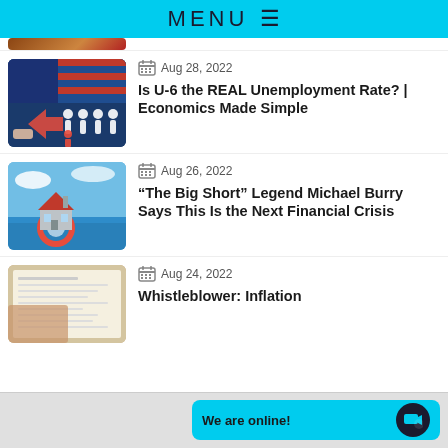MENU ≡
[Figure (photo): Partially visible article thumbnail at top of page]
Aug 28, 2022
Is U-6 the REAL Unemployment Rate? | Economics Made Simple
[Figure (photo): Thumbnail: figures on American flag background with red arrow, unemployment themed]
Aug 26, 2022
“The Big Short” Legend Michael Burry Says This Is the Next Financial Crisis
[Figure (photo): Thumbnail: small house floating on water with life preserver ring]
Aug 24, 2022
Whistleblower: Inflation
[Figure (photo): Thumbnail: tax/financial documents]
We are online!